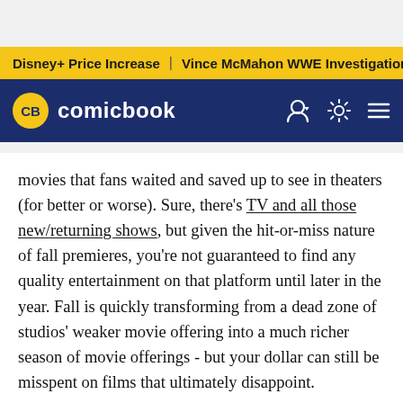Disney+ Price Increase | Vince McMahon WWE Investigation
[Figure (logo): ComicBook.com logo with CB badge in yellow circle and white text on dark navy background, plus user/settings/menu icons]
movies that fans waited and saved up to see in theaters (for better or worse). Sure, there's TV and all those new/returning shows, but given the hit-or-miss nature of fall premieres, you're not guaranteed to find any quality entertainment on that platform until later in the year. Fall is quickly transforming from a dead zone of studios' weaker movie offering into a much richer season of movie offerings - but your dollar can still be misspent on films that ultimately disappoint.
Of course, with the right road map any treacherous path